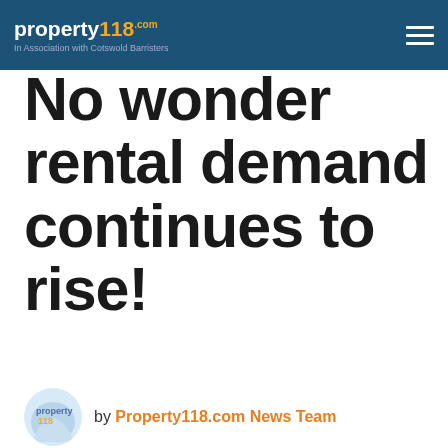property118.com — In Association with Cotswold Barristers
No wonder rental demand continues to rise!
by Property118.com News Team
14:19 PM, 27th February 2017, About 6 years ago  4
Text Size A^ A∨
Lloyds Bank has